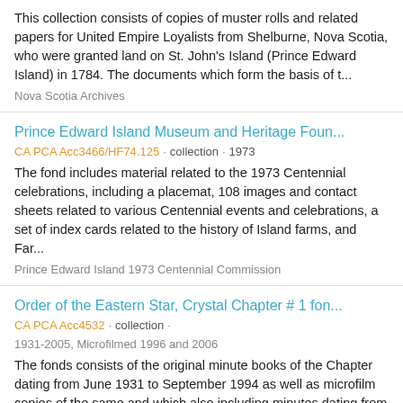This collection consists of copies of muster rolls and related papers for United Empire Loyalists from Shelburne, Nova Scotia, who were granted land on St. John's Island (Prince Edward Island) in 1784. The documents which form the basis of t...
Nova Scotia Archives
Prince Edward Island Museum and Heritage Foun...
CA PCA Acc3466/HF74.125 · collection · 1973
The fond includes material related to the 1973 Centennial celebrations, including a placemat, 108 images and contact sheets related to various Centennial events and celebrations, a set of index cards related to the history of Island farms, and Far...
Prince Edward Island 1973 Centennial Commission
Order of the Eastern Star, Crystal Chapter # 1 fon...
CA PCA Acc4532 · collection ·
1931-2005, Microfilmed 1996 and 2006
The fonds consists of the original minute books of the Chapter dating from June 1931 to September 1994 as well as microfilm copies of the same and which also including minutes dating from 20 September 1994 until November 2005.
Order of the Eastern Star. Crystal Chapter # 1 (Charlottetown, P.E.I.)